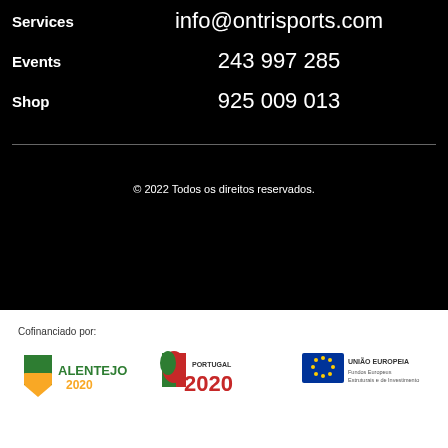Services   info@ontrisports.com
Events   243 997 285
Shop   925 009 013
© 2022 Todos os direitos reservados.
Cofinanciado por:
[Figure (logo): Alentejo 2020 logo with green and yellow leaf icon and text ALENTEJO 2020]
[Figure (logo): Portugal 2020 logo with green/red Portugal flag icon and red text PORTUGAL 2020]
[Figure (logo): EU flag logo with blue background and yellow stars circle, text UNIAO EUROPEIA Fundos Europeus Estruturais e de Investimento]